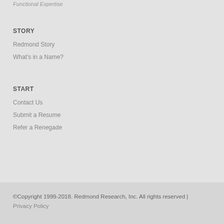Functional Expertise
STORY
Redmond Story
What's in a Name?
START
Contact Us
Submit a Resume
Refer a Renegade
©Copyright 1999-2018. Redmond Research, Inc. All rights reserved | Privacy Policy